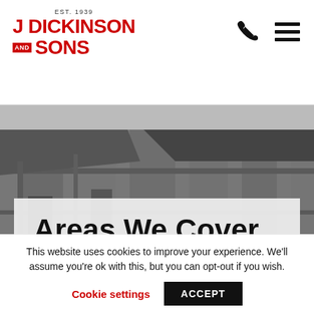[Figure (logo): J Dickinson and Sons logo with EST. 1939 text, red bold lettering]
[Figure (photo): Black and white industrial background photo showing warehouse/building exterior]
Areas We Cover
Home » Bin Collection Service » Areas We Cover
This website uses cookies to improve your experience. We'll assume you're ok with this, but you can opt-out if you wish.
Cookie settings   ACCEPT